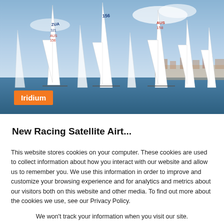[Figure (photo): Sailboat racing scene with multiple white sailboats on blue water, sail numbers including ZUA 321, AUS 156, 156, AUS 158 visible, coastline and buildings in background.]
New Racing Satellite Airt...
This website stores cookies on your computer. These cookies are used to collect information about how you interact with our website and allow us to remember you. We use this information in order to improve and customize your browsing experience and for analytics and metrics about our visitors both on this website and other media. To find out more about the cookies we use, see our Privacy Policy.
We won't track your information when you visit our site. But in order to comply with your preferences, we'll have to use just one tiny cookie so that you're not asked to make this choice again.